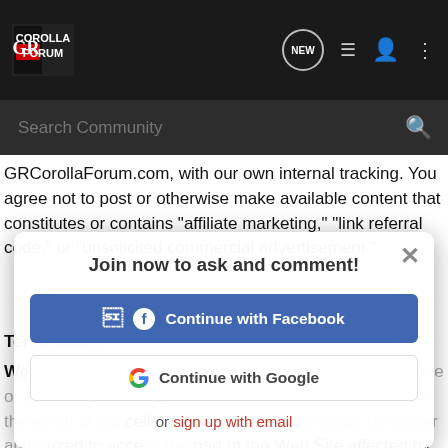GR Corolla Forum - header navigation bar
GRCorollaForum.com, with our own internal tracking. You agree not to post or otherwise make available content that constitutes or contains "affiliate marketing," "link referral code," or "unsolicited commercial advertisement."
Termination
We may cancel or terminate your right to use the Web Site or any part of the Web Site at any time without notice. In the event of cancellation or termination, you are no longer authorized to access the part of the Web Site affected by such cancellation or termination. The restrictions imposed on you with respect to material downloaded from the Web Site, and the disclaimers and limitations of liabilities set forth in these Terms and Conditions of Service, shall survive.
[Figure (screenshot): Modal overlay dialog with title 'Join now to ask and comment!' and buttons: 'Continue with Facebook', 'Continue with Google', and 'or sign up with email' link. Close X button in top right.]